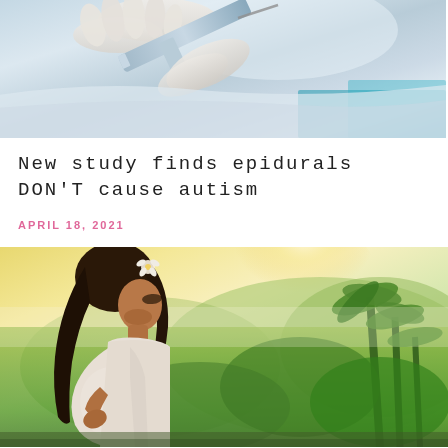[Figure (photo): Close-up photo of gloved hands holding a syringe or medical/lab equipment, blurred blue background suggesting laboratory setting]
New study finds epidurals DON'T cause autism
APRIL 18, 2021
[Figure (photo): Pregnant woman with flower in hair standing outdoors in tropical setting with palm trees and misty green landscape in background, sunlit]